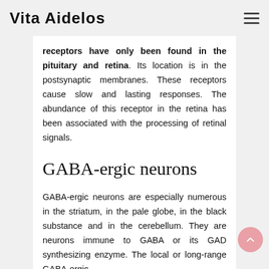Vita Aidelos
receptors have only been found in the pituitary and retina. Its location is in the postsynaptic membranes. These receptors cause slow and lasting responses. The abundance of this receptor in the retina has been associated with the processing of retinal signals.
GABA-ergic neurons
GABA-ergic neurons are especially numerous in the striatum, in the pale globe, in the black substance and in the cerebellum. They are neurons immune to GABA or its GAD synthesizing enzyme. The local or long-range GABA-ergic